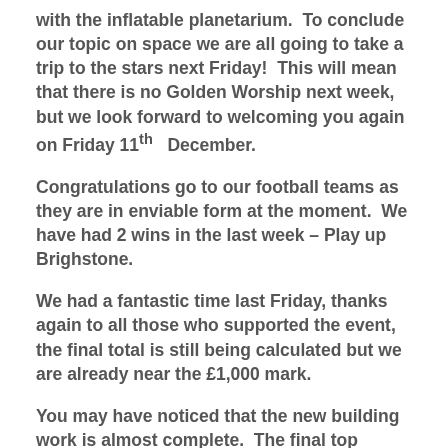with the inflatable planetarium.  To conclude our topic on space we are all going to take a trip to the stars next Friday!  This will mean that there is no Golden Worship next week, but we look forward to welcoming you again on Friday 11th December.
Congratulations go to our football teams as they are in enviable form at the moment.  We have had 2 wins in the last week – Play up Brighstone.
We had a fantastic time last Friday, thanks again to all those who supported the event, the final total is still being calculated but we are already near the £1,000 mark.
You may have noticed that the new building work is almost complete.  The final top coating is being completed and then we are finished!
STOP PRESS – We'd be...is £180...